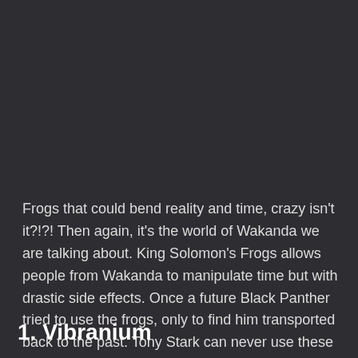Frogs that could bend reality and time, crazy isn't it?!?! Then again, it's the world of Wakanda we are talking about. King Solomon's Frogs allows people from Wakanda to manipulate time but with drastic side effects. Once a future Black Panther tried to use the frogs, only to find him transported back to the past. Tony Stark can never use these frogs because they can only be used by people of Wakandan origin.
1. Vibranium